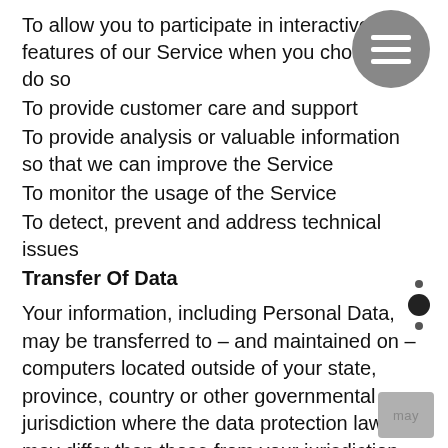To allow you to participate in interactive features of our Service when you choose to do so
To provide customer care and support
To provide analysis or valuable information so that we can improve the Service
To monitor the usage of the Service
To detect, prevent and address technical issues
Transfer Of Data
Your information, including Personal Data, may be transferred to – and maintained on – computers located outside of your state, province, country or other governmental jurisdiction where the data protection laws may differ than those from your jurisdiction.